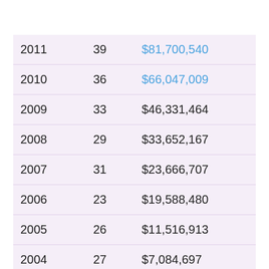| 2011 | 39 | $81,700,540 |
| 2010 | 36 | $66,047,009 |
| 2009 | 33 | $46,331,464 |
| 2008 | 29 | $33,652,167 |
| 2007 | 31 | $23,666,707 |
| 2006 | 23 | $19,588,480 |
| 2005 | 26 | $11,516,913 |
| 2004 | 27 | $7,084,697 |
| 2003 | 34 | $3,933,976 |